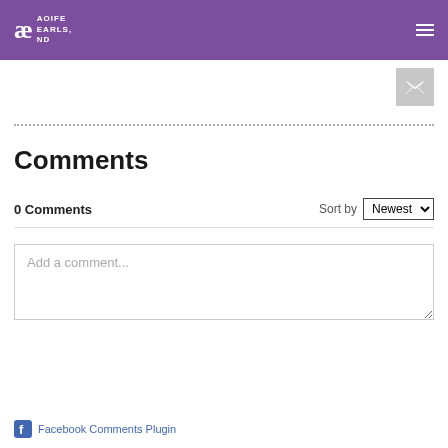Aoife Earls, ND — site header with logo and navigation
[Figure (logo): Aoife Earls ND logo: stylized ae monogram with text AOIFE EARLS, ND]
[Figure (other): Email/envelope icon button, grey square]
Comments
0 Comments  Sort by Newest
Add a comment...
Facebook Comments Plugin